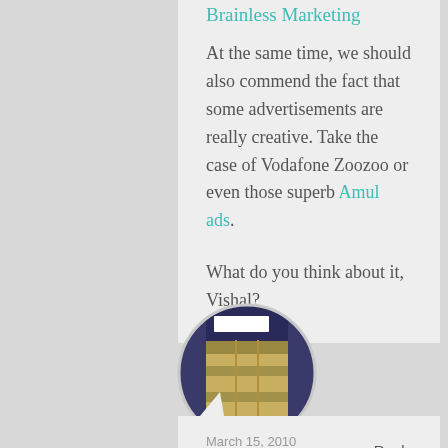Brainless Marketing
At the same time, we should also commend the fact that some advertisements are really creative. Take the case of Vodafone Zoozoo or even those superb Amul ads.
What do you think about it, Vishal?
[Figure (photo): Circular avatar image showing a building exterior with blue and yellow tones]
March 15, 2010
Nitin Pahuja
Reply